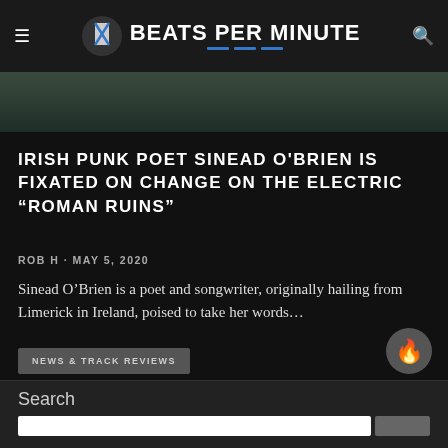BEATS PER MINUTE
[Figure (photo): Partial photo showing boots/shoes, appears to be artist photo cropped at top of article]
IRISH PUNK POET SINEAD O'BRIEN IS FIXATED ON CHANGE ON THE ELECTRIC “ROMAN RUINS”
ROB H · MAY 5, 2020
Sinead O’Brien is a poet and songwriter, originally hailing from Limerick in Ireland, poised to take her words…
NEWS & TRACK REVIEWS
Search